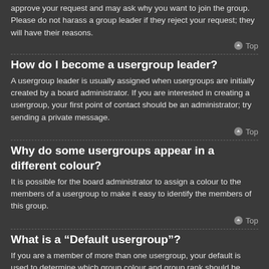approve your request and may ask why you want to join the group. Please do not harass a group leader if they reject your request; they will have their reasons.
Top
How do I become a usergroup leader?
A usergroup leader is usually assigned when usergroups are initially created by a board administrator. If you are interested in creating a usergroup, your first point of contact should be an administrator; try sending a private message.
Top
Why do some usergroups appear in a different colour?
It is possible for the board administrator to assign a colour to the members of a usergroup to make it easy to identify the members of this group.
Top
What is a “Default usergroup”?
If you are a member of more than one usergroup, your default is used to determine which group colour and group rank should be shown for you by default. The board administrator may grant you permission to change your default usergroup via your User Control Panel.
Top
What is “The team” link?